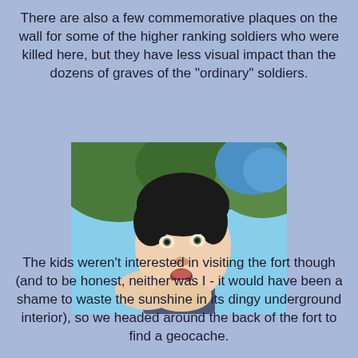There are also a few commemorative plaques on the wall for some of the higher ranking soldiers who were killed here, but they have less visual impact than the dozens of graves of the "ordinary" soldiers.
[Figure (photo): A young boy looking upward with his mouth slightly open, outdoors with trees and blue sky visible in the background.]
The kids weren't interested in visiting the fort though (and to be honest, neither was I - it would have been a shame to waste the sunshine in its dingy underground interior), so we headed around the back of the fort to find a geocache.